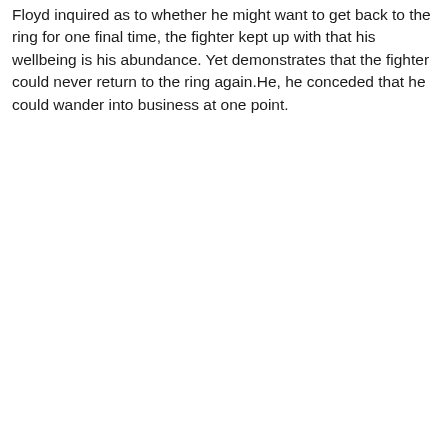Floyd inquired as to whether he might want to get back to the ring for one final time, the fighter kept up with that his wellbeing is his abundance. Yet demonstrates that the fighter could never return to the ring again.He, he conceded that he could wander into business at one point.